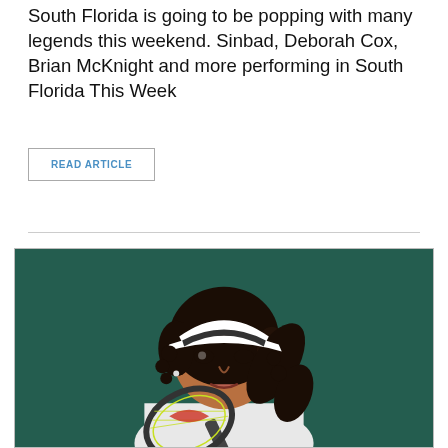South Florida is going to be popping with many legends this weekend. Sinbad, Deborah Cox, Brian McKnight and more performing in South Florida This Week
READ ARTICLE
[Figure (photo): Close-up photo of a young female tennis player with curly hair pulled back in a ponytail, wearing a white visor/cap, holding a tennis racket with yellow-green strings and a red/orange design visible. Dark teal/green background.]